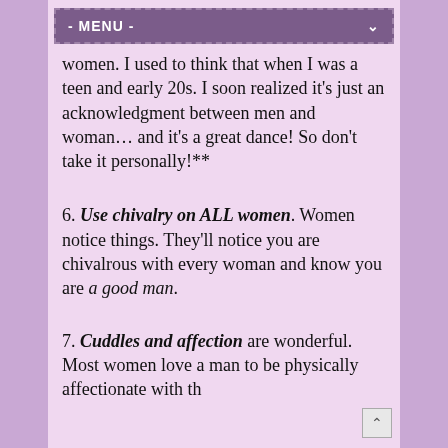- MENU -
women. I used to think that when I was a teen and early 20s. I soon realized it’s just an acknowledgment between men and woman… and it’s a great dance! So don’t take it personally!**
6. Use chivalry on ALL women. Women notice things. They’ll notice you are chivalrous with every woman and know you are a good man.
7. Cuddles and affection are wonderful. Most women love a man to be physically affectionate with th...